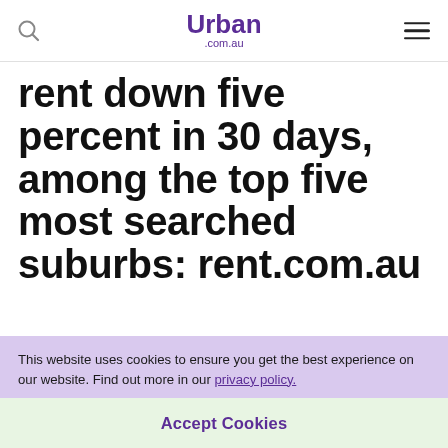Urban .com.au
rent down five percent in 30 days, among the top five most searched suburbs: rent.com.au
[Figure (other): Partial image with blue-to-light-blue gradient strip visible at bottom of content area]
This website uses cookies to ensure you get the best experience on our website. Find out more in our privacy policy.
Accept Cookies